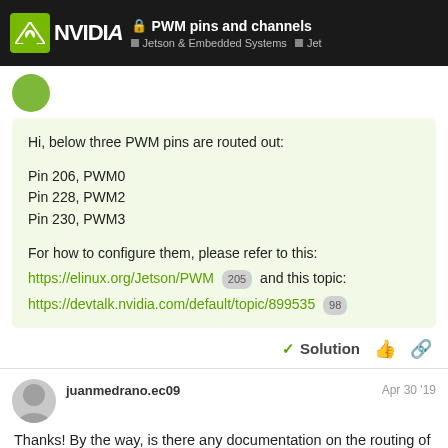PWM pins and channels — Jetson & Embedded Systems — Jet
Hi, below three PWM pins are routed out:

Pin 206, PWM0
Pin 228, PWM2
Pin 230, PWM3

For how to configure them, please refer to this:
https://elinux.org/Jetson/PWM 205 and this topic:
https://devtalk.nvidia.com/default/topic/899535 98
✓ Solution
juanmedrano.ec09   Apr 30 '19
Thanks! By the way, is there any documentation on the routing of these pins I can refer to?